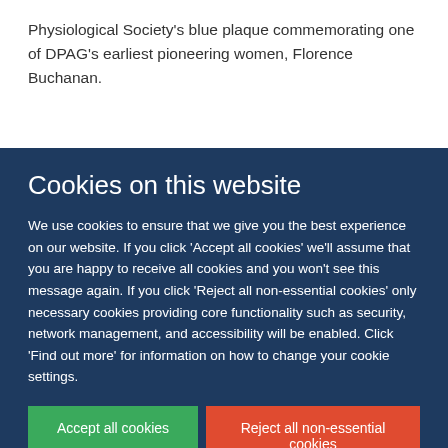Physiological Society's blue plaque commemorating one of DPAG's earliest pioneering women, Florence Buchanan.
Cookies on this website
We use cookies to ensure that we give you the best experience on our website. If you click 'Accept all cookies' we'll assume that you are happy to receive all cookies and you won't see this message again. If you click 'Reject all non-essential cookies' only necessary cookies providing core functionality such as security, network management, and accessibility will be enabled. Click 'Find out more' for information on how to change your cookie settings.
Accept all cookies
Reject all non-essential cookies
Find out more